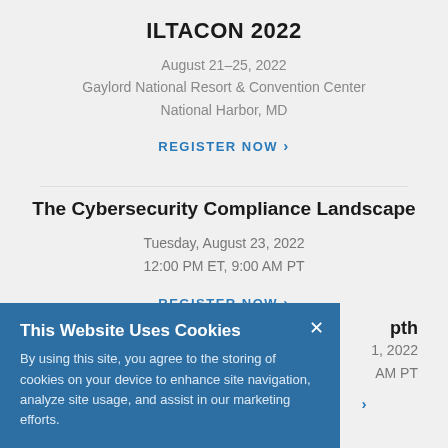ILTACON 2022
August 21–25, 2022
Gaylord National Resort & Convention Center
National Harbor, MD
REGISTER NOW ›
The Cybersecurity Compliance Landscape
Tuesday, August 23, 2022
12:00 PM ET, 9:00 AM PT
REGISTER NOW ›
...pth
...1, 2022
...AM PT
›
This Website Uses Cookies
By using this site, you agree to the storing of cookies on your device to enhance site navigation, analyze site usage, and assist in our marketing efforts.